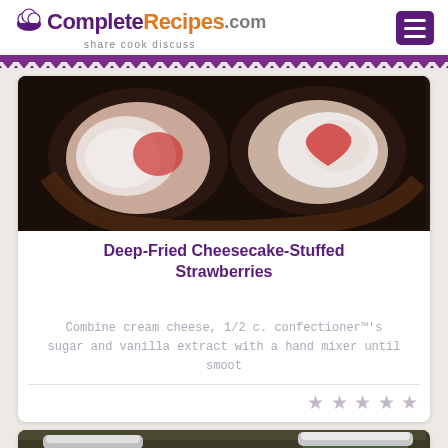CompleteRecipes.com - share cook discuss
[Figure (photo): Photo of deep-fried cheesecake-stuffed strawberries, cut open showing cream cheese filling]
Deep-Fried Cheesecake-Stuffed Strawberries
Combine cream cheese, 1/2 c. confectioner™'s sugar and vanilla extract with a hand mixer until smoot
★ ★ ★ ★ ★
[Figure (photo): Photo of mason jars with pickled vegetables]